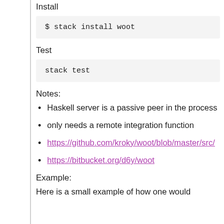Install
$ stack install woot
Test
stack test
Notes:
Haskell server is a passive peer in the process
only needs a remote integration function
https://github.com/kroky/woot/blob/master/src/
https://bitbucket.org/d6y/woot
Example:
Here is a small example of how one would